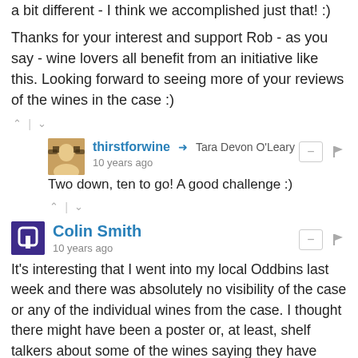a bit different - I think we accomplished just that! :)
Thanks for your interest and support Rob - as you say - wine lovers all benefit from an initiative like this. Looking forward to seeing more of your reviews of the wines in the case :)
thirstforwine → Tara Devon O'Leary
10 years ago
Two down, ten to go! A good challenge :)
Colin Smith
10 years ago
It's interesting that I went into my local Oddbins last week and there was absolutely no visibility of the case or any of the individual wines from the case. I thought there might have been a poster or, at least, shelf talkers about some of the wines saying they have been recommended by wine bloggers. I wouldn't have expected such a complete disconnect